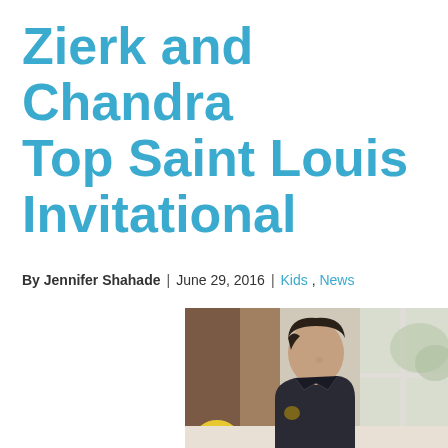Zierk and Chandra Top Saint Louis Invitational
By Jennifer Shahade | June 29, 2016 | Kids , News
[Figure (photo): A young man with short dark hair wearing a dark jacket, leaning over a table (presumably playing chess), photographed near a bright window with outdoor greenery visible.]